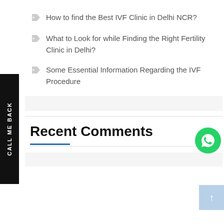How to find the Best IVF Clinic in Delhi NCR?
What to Look for while Finding the Right Fertility Clinic in Delhi?
Some Essential Information Regarding the IVF Procedure
Recent Comments
[Figure (illustration): CALL ME BACK vertical sidebar button on black background]
[Figure (illustration): WhatsApp green circle button with chat icon]
[Figure (illustration): Scroll to top light blue button with upward arrow]